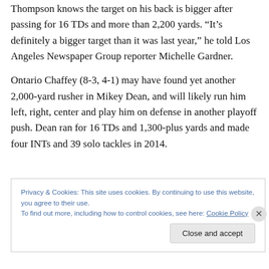Thompson knows the target on his back is bigger after passing for 16 TDs and more than 2,200 yards. “It’s definitely a bigger target than it was last year,” he told Los Angeles Newspaper Group reporter Michelle Gardner.
Ontario Chaffey (8-3, 4-1) may have found yet another 2,000-yard rusher in Mikey Dean, and will likely run him left, right, center and play him on defense in another playoff push. Dean ran for 16 TDs and 1,300-plus yards and made four INTs and 39 solo tackles in 2014.
Privacy & Cookies: This site uses cookies. By continuing to use this website, you agree to their use.
To find out more, including how to control cookies, see here: Cookie Policy